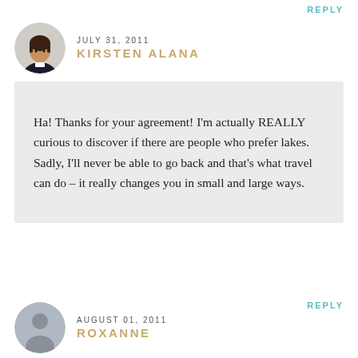REPLY
JULY 31, 2011
KIRSTEN ALANA
Ha! Thanks for your agreement! I'm actually REALLY curious to discover if there are people who prefer lakes. Sadly, I'll never be able to go back and that's what travel can do – it really changes you in small and large ways.
REPLY
AUGUST 01, 2011
ROXANNE